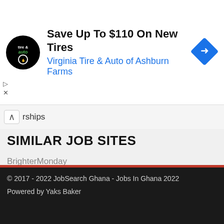[Figure (other): Advertisement banner for Virginia Tire & Auto of Ashburn Farms with logo, text 'Save Up To $110 On New Tires', subtitle 'Virginia Tire & Auto of Ashburn Farms', and a blue diamond arrow icon]
rships
SIMILAR JOB SITES
BrighterMonday
Job Gurus
Career24
Nigeria Careers
Jobs in South Africa
Jooble
© 2017 - 2022 JobSearch Ghana - Jobs In Ghana 2022
Powered by Yaks Baker